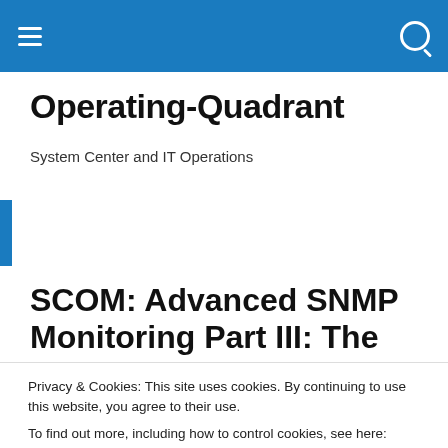Operating-Quadrant — navigation bar with hamburger menu and search icon
Operating-Quadrant
System Center and IT Operations
[Figure (photo): Blue and white abstract banner image with grid-like pattern]
SCOM: Advanced SNMP Monitoring Part III: The
Privacy & Cookies: This site uses cookies. By continuing to use this website, you agree to their use.
To find out more, including how to control cookies, see here: Cookie Policy
Close and accept